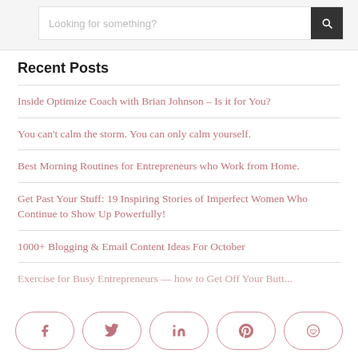[Figure (screenshot): Search bar with placeholder text 'Looking for something?' and a dark search button with magnifying glass icon]
Recent Posts
Inside Optimize Coach with Brian Johnson – Is it for You?
You can't calm the storm. You can only calm yourself.
Best Morning Routines for Entrepreneurs who Work from Home.
Get Past Your Stuff: 19 Inspiring Stories of Imperfect Women Who Continue to Show Up Powerfully!
1000+ Blogging & Email Content Ideas For October
Exercise for Busy Entrepreneurs — how to Get Off Your Butt…
[Figure (screenshot): Social share buttons: Facebook, Twitter, LinkedIn, Pinterest, Reddit]